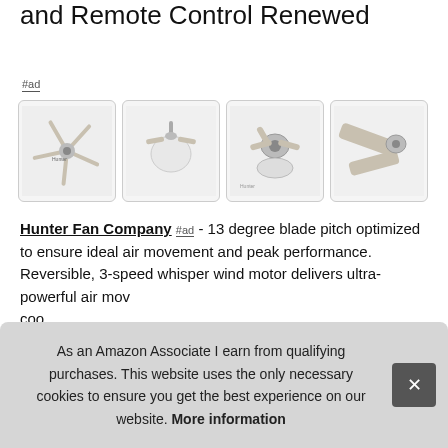and Remote Control Renewed
#ad
[Figure (photo): Four product images of a ceiling fan showing different angles: full fan view from below, light kit close-up, motor/blade detail, and a blade close-up. All in brushed nickel/silver finish with light wood blades.]
Hunter Fan Company #ad - 13 degree blade pitch optimized to ensure ideal air movement and peak performance. Reversible, 3-speed whisper wind motor delivers ultra-powerful air movement. coo
As an Amazon Associate I earn from qualifying purchases. This website uses the only necessary cookies to ensure you get the best experience on our website. More information